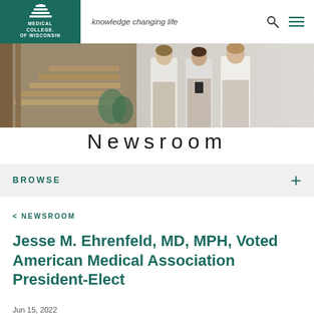knowledge changing life
[Figure (photo): Hero banner image showing a modern building interior with staircase on the left and three women in white medical coats walking together on the right]
Newsroom
BROWSE
< NEWSROOM
Jesse M. Ehrenfeld, MD, MPH, Voted American Medical Association President-Elect
Jun 15, 2022